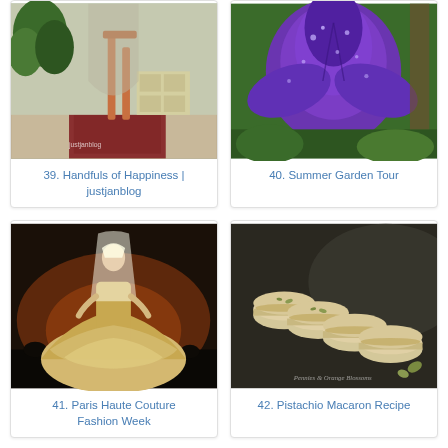[Figure (photo): Interior home scene with plants, wooden staircase, and patterned rug]
39. Handfuls of Happiness | justjanblog
[Figure (photo): Close-up of purple iris flowers with raindrops]
40. Summer Garden Tour
[Figure (photo): Model in elaborate gold ball gown at fashion show]
41. Paris Haute Couture Fashion Week
[Figure (photo): Row of pistachio macarons on dark surface]
42. Pistachio Macaron Recipe
[Figure (photo): Partial view of a framed chalkboard]
[Figure (photo): Partial view of turquoise and green color blocks]